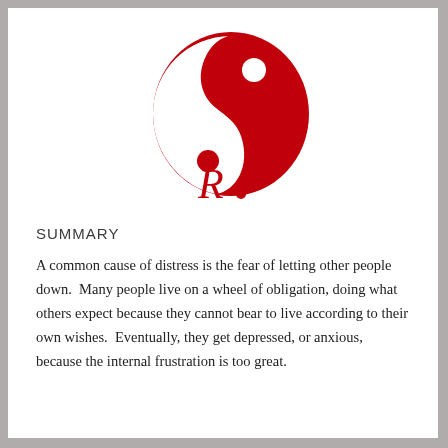[Figure (logo): Red yin-yang style logo with a stylized cursive letter R and a dot, in deep red/crimson color]
SUMMARY
A common cause of distress is the fear of letting other people down.  Many people live on a wheel of obligation, doing what others expect because they cannot bear to live according to their own wishes.  Eventually, they get depressed, or anxious, because the internal frustration is too great.